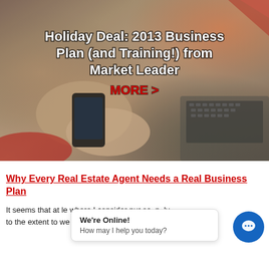[Figure (photo): Banner image showing hands using a phone/tablet near a laptop keyboard, with overlaid text promoting a holiday deal for a 2013 Business Plan and Training from Market Leader, with a red MORE > call-to-action link.]
Why Every Real Estate Agent Needs a Real Business Plan
It seems that at le where I consider pur se, n ly to the extent to we actually have a